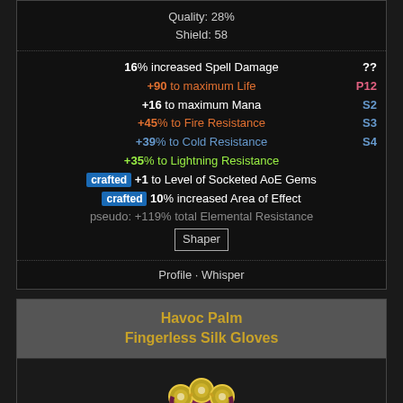Quality: 28%
Shield: 58
16% increased Spell Damage
+90 to maximum Life
+16 to maximum Mana
+45% to Fire Resistance
+39% to Cold Resistance
+35% to Lightning Resistance
crafted +1 to Level of Socketed AoE Gems
crafted 10% increased Area of Effect
pseudo: +119% total Elemental Resistance
Shaper
??
P12
S2
S3
S4
Profile · Whisper
Havoc Palm
Fingerless Silk Gloves
[Figure (illustration): Game item illustration of Fingerless Silk Gloves with colorful gem-like orbs and swirling purple/blue/red design]